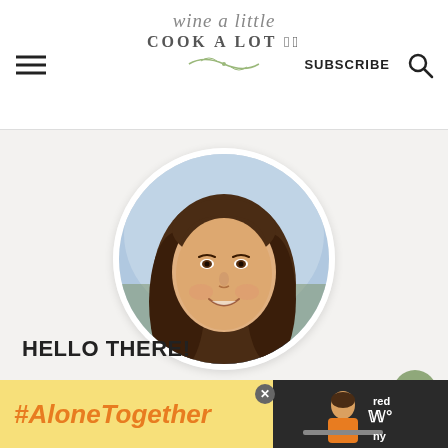wine a little cook a lot | SUBSCRIBE
[Figure (photo): Circular profile photo of a young woman with long brown hair, smiling, wearing a floral top, outdoors with blurred background]
HELLO THERE!
I'm Alyssa, recipe creator &
[Figure (infographic): Yellow advertisement banner with orange text '#AloneTogether' and a photo of a woman in a kitchen on the right side with a close button]